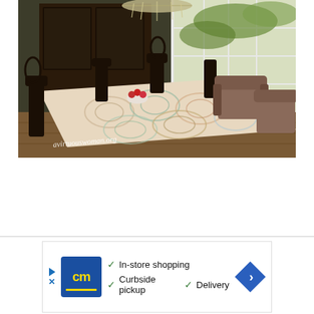[Figure (photo): Interior dining room photo showing a table with a decorative circular-patterned tablecloth, dark wooden chairs, a china cabinet in the background, large windows letting in natural light, two upholstered armchairs near the window, and a chandelier overhead. Watermark text reads 'avirtuouswoman.org'.]
[Figure (infographic): Advertisement banner. Left side shows navigation arrows and an 'X' mark. Center shows a blue square logo with 'cm' in yellow. Right side lists checkmarks: 'In-store shopping', 'Curbside pickup', 'Delivery'. Far right shows a blue diamond-shaped navigation arrow.]